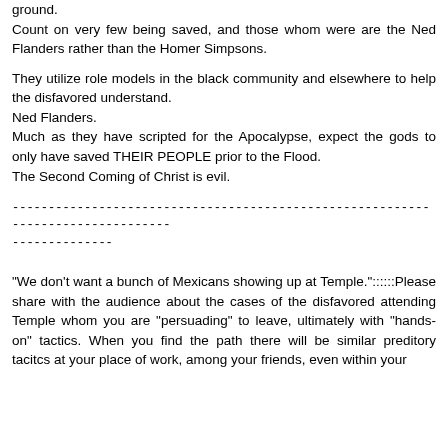ground.
Count on very few being saved, and those whom were are the Ned Flanders rather than the Homer Simpsons.
They utilize role models in the black community and elsewhere to help the disfavored understand.
Ned Flanders.
Much as they have scripted for the Apocalypse, expect the gods to only have saved THEIR PEOPLE prior to the Flood.
The Second Coming of Christ is evil.
--------------------------------------------------------------------------------
--------------
"We don't want a bunch of Mexicans showing up at Temple."::::::Please share with the audience about the cases of the disfavored attending Temple whom you are "persuading" to leave, ultimately with "hands-on" tactics. When you find the path there will be similar predatory tacitcs at your place of work, among your friends, even within your